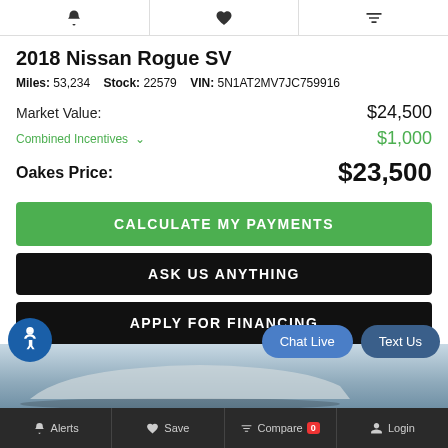[Figure (screenshot): Top icon bar with bell (Alerts), heart (Save), and sliders (Compare) icons]
2018 Nissan Rogue SV
Miles: 53,234   Stock: 22579   VIN: 5N1AT2MV7JC759916
Market Value: $24,500
Combined Incentives ∨  $1,000
Oakes Price: $23,500
CALCULATE MY PAYMENTS
ASK US ANYTHING
APPLY FOR FINANCING
[Figure (photo): Partial car image strip at bottom of listing card showing vehicle exterior]
Alerts  Save  Compare 0  Login